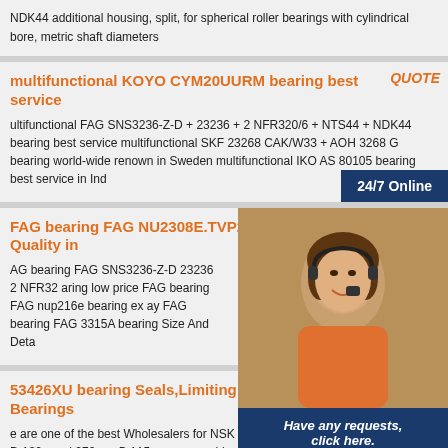NDK44 additional housing, split, for spherical roller bearings with cylindrical bore, metric shaft diameters
multifunctional KOYO CYM20UURM bearing best service
ultifunctional FAG SNS3236-Z-D + 23236 + 2 NFR320/6 + NTS44 + NDK44 bearing best service multifunctional SKF 23268 CAK/W33 + AOH 3268 G bearing world-wide renown in Sweden multifunctional IKO AS 80105 bearing best service in Ind
FAG bearing FAG NU2308E.TVP2 Excellent Quality in
AG bearing FAG SNS3236-Z-D 23236 2 NFR32 aring low price FAG bearing FAG nup216e bearing ex ay FAG bearing FAG 3315A bearing Size And Deta
53426XU bearing Seals,Limiting S Bearings
e are one of the best Wholesalers for NSK 5342 tions SPEC D:130mm,d:270mm,B:115mm we provide gs best price, need the following 53426X NSK , provide you Price., NSK bearings FAG SNS3148-H-D 22244K H3144X715 4 NFR400/10
[Figure (photo): Customer service representative woman with headset smiling, overlaid with 24/7 Online button, Have any requests click here panel, and Quotation button]